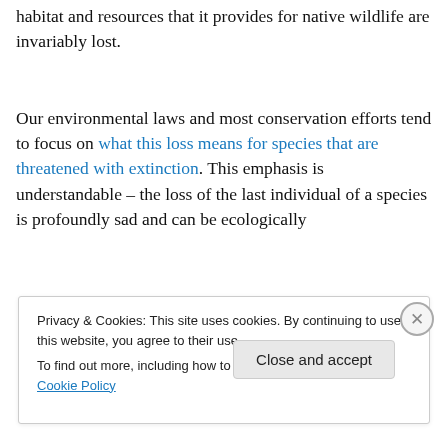habitat and resources that it provides for native wildlife are invariably lost.
Our environmental laws and most conservation efforts tend to focus on what this loss means for species that are threatened with extinction. This emphasis is understandable – the loss of the last individual of a species is profoundly sad and can be ecologically
Privacy & Cookies: This site uses cookies. By continuing to use this website, you agree to their use.
To find out more, including how to control cookies, see here: Cookie Policy